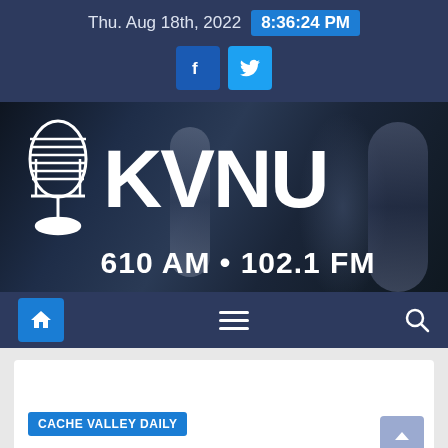Thu. Aug 18th, 2022  8:36:24 PM
[Figure (logo): KVNU 610 AM · 102.1 FM radio station logo with vintage microphone graphic on dark background]
[Figure (screenshot): Navigation bar with home icon, hamburger menu, and search icon on dark blue background]
CACHE VALLEY DAILY